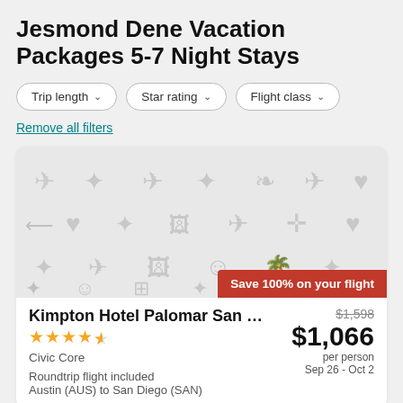Jesmond Dene Vacation Packages 5-7 Night Stays
Trip length ▾
Star rating ▾
Flight class ▾
Remove all filters
[Figure (illustration): Placeholder image with travel-themed icons (hearts, airplanes, smiley faces, luggage icons) on a light gray background. Red badge reading 'Save 100% on your flight']
Kimpton Hotel Palomar San Diego, ...
★★★★★ (4.5 stars)
Civic Core
$1,598 (strikethrough)
$1,066
per person
Sep 26 - Oct 2
Roundtrip flight included
Austin (AUS) to San Diego (SAN)